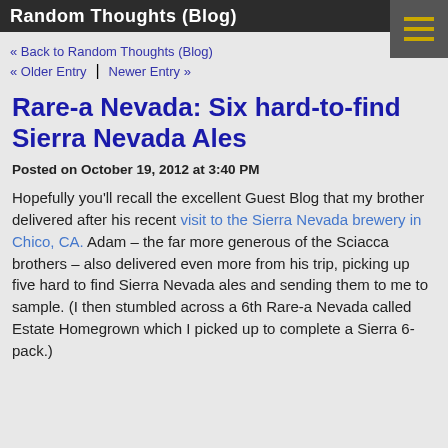Random Thoughts (Blog)
« Back to Random Thoughts (Blog)
« Older Entry  |  Newer Entry »
Rare-a Nevada: Six hard-to-find Sierra Nevada Ales
Posted on October 19, 2012 at 3:40 PM
Hopefully you'll recall the excellent Guest Blog that my brother delivered after his recent visit to the Sierra Nevada brewery in Chico, CA. Adam – the far more generous of the Sciacca brothers – also delivered even more from his trip, picking up five hard to find Sierra Nevada ales and sending them to me to sample. (I then stumbled across a 6th Rare-a Nevada called Estate Homegrown which I picked up to complete a Sierra 6-pack.)